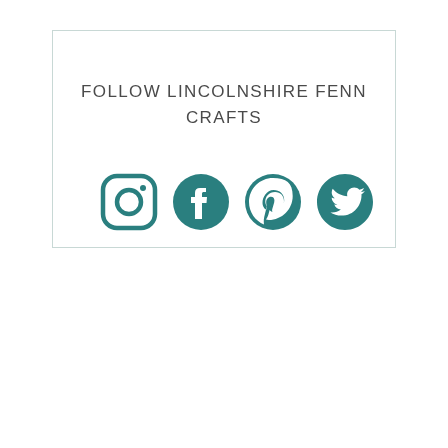FOLLOW LINCOLNSHIRE FENN CRAFTS
[Figure (illustration): Four social media icons in teal: Instagram, Facebook, Pinterest, Twitter arranged in a horizontal row]